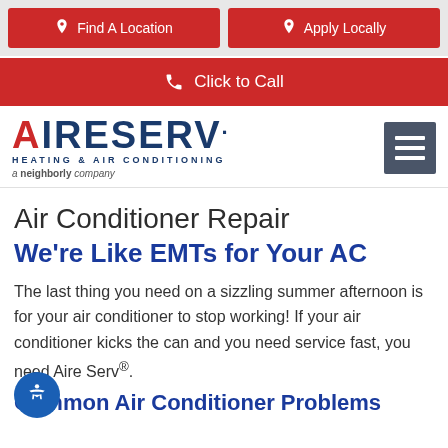Find A Location | Apply Locally
Click to Call
[Figure (logo): Aire Serv Heating & Air Conditioning logo with hamburger menu icon]
Air Conditioner Repair
We're Like EMTs for Your AC
The last thing you need on a sizzling summer afternoon is for your air conditioner to stop working! If your air conditioner kicks the can and you need service fast, you need Aire Serv®.
Common Air Conditioner Problems